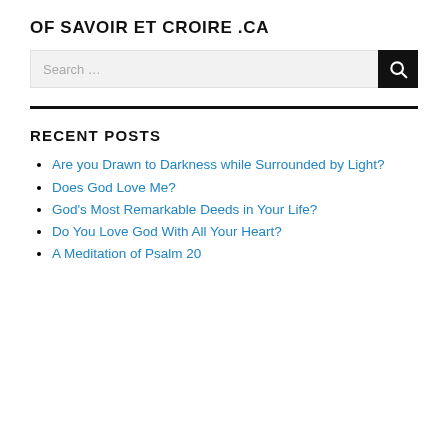OF SAVOIR ET CROIRE .CA
[Figure (other): Search bar with text input field showing placeholder 'Search ...' and a black button with magnifying glass icon]
RECENT POSTS
Are you Drawn to Darkness while Surrounded by Light?
Does God Love Me?
God's Most Remarkable Deeds in Your Life?
Do You Love God With All Your Heart?
A Meditation of Psalm 20